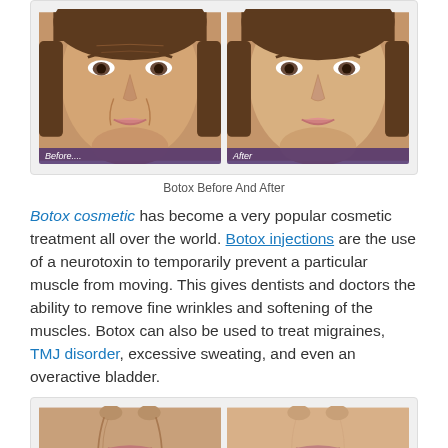[Figure (photo): Before and after photos of a woman's face showing Botox treatment results. Left image labeled 'Before....' shows more wrinkles; right image labeled 'After' shows smoother skin. Both images have a purple/dark banner label at the bottom.]
Botox Before And After
Botox cosmetic has become a very popular cosmetic treatment all over the world. Botox injections are the use of a neurotoxin to temporarily prevent a particular muscle from moving. This gives dentists and doctors the ability to remove fine wrinkles and softening of the muscles. Botox can also be used to treat migraines, TMJ disorder, excessive sweating, and even an overactive bladder.
[Figure (photo): Before and after close-up photos of the lower face/mouth area showing Botox or filler treatment results. Left side shows more wrinkles and lines around the mouth; right side shows smoother skin.]